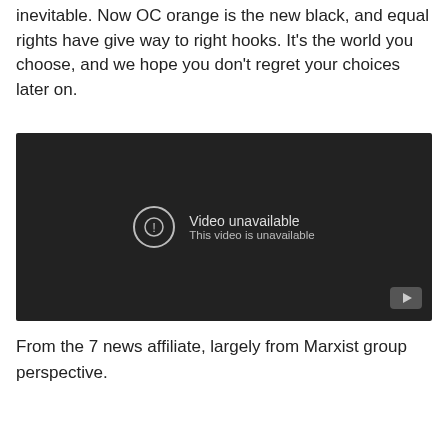inevitable. Now OC orange is the new black, and equal rights have give way to right hooks. It’s the world you choose, and we hope you don’t regret your choices later on.
[Figure (screenshot): Embedded video player showing 'Video unavailable. This video is unavailable.' with a YouTube play button icon in the bottom right corner, dark background.]
From the 7 news affiliate, largely from Marxist group perspective.